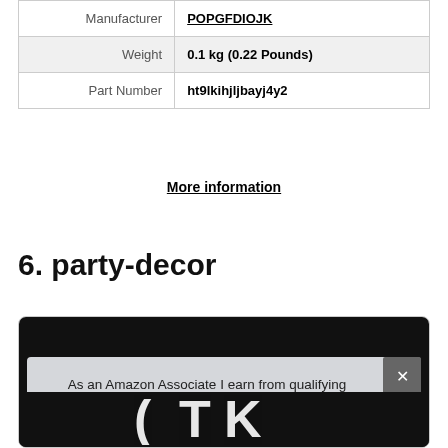| Label | Value |
| --- | --- |
| Manufacturer | POPGFDIOJK |
| Weight | 0.1 kg (0.22 Pounds) |
| Part Number | ht9lkihjljbayj4y2 |
More information
6. party-decor
As an Amazon Associate I earn from qualifying purchases. This website uses the only necessary cookies to ensure you get the best experience on our website. More information
[Figure (photo): Product image partially visible behind cookie consent overlay, dark background with white graphic elements.]